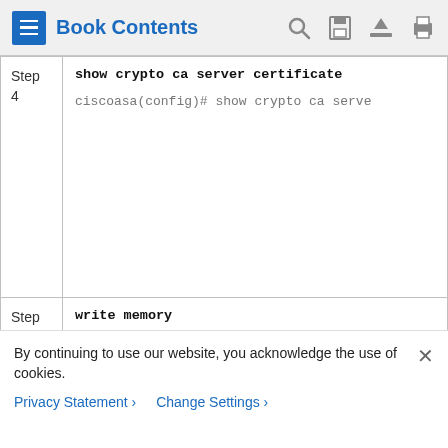Book Contents
| Step | Command/Description |
| --- | --- |
| Step 4 | show crypto ca server certificate
ciscoasa(config)# show crypto ca server |
| Step 5 | write memory
ciscoasa(config)# write memory |
By continuing to use our website, you acknowledge the use of cookies.
Privacy Statement > Change Settings >